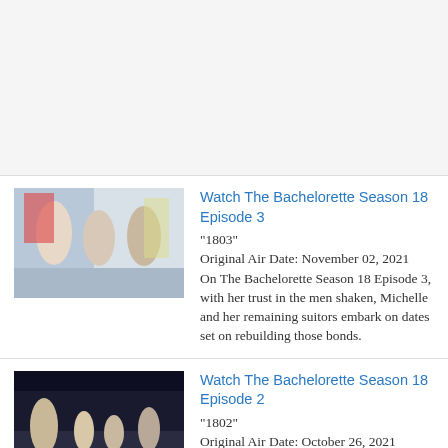[Figure (other): Top placeholder area, light gray background]
[Figure (photo): Thumbnail image for The Bachelorette Season 18 Episode 3 showing people in a colorful setting]
Watch The Bachelorette Season 18 Episode 3
"1803"
Original Air Date: November 02, 2021
On The Bachelorette Season 18 Episode 3, with her trust in the men shaken, Michelle and her remaining suitors embark on dates set on rebuilding those bonds.
[Figure (photo): Thumbnail image for The Bachelorette Season 18 Episode 2 showing performers on a stage]
Watch The Bachelorette Season 18 Episode 2
"1802"
Original Air Date: October 26, 2021
On The Bachelorette Season 18